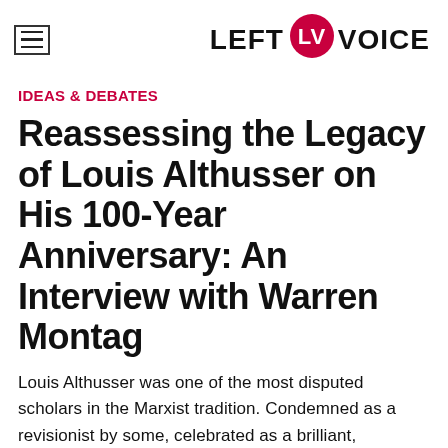LEFT VOICE
IDEAS & DEBATES
Reassessing the Legacy of Louis Althusser on His 100-Year Anniversary: An Interview with Warren Montag
Louis Althusser was one of the most disputed scholars in the Marxist tradition. Condemned as a revisionist by some, celebrated as a brilliant, innovative Marxist philosopher by others, his theoretical contributions still spur interest and controversy today, almost thirty years